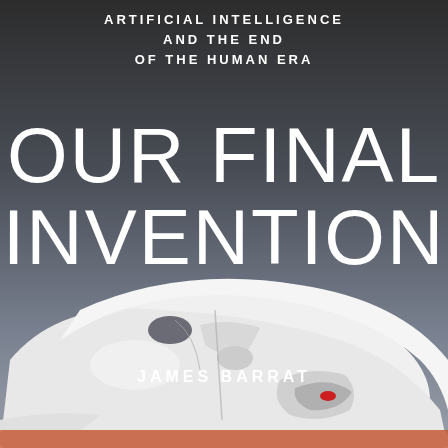[Figure (illustration): Book cover of 'Our Final Invention' by James Barrat. The background is a dark-to-medium grey gradient. A white robotic face/head is depicted lying on its side in the lower half of the cover, with smooth sculpted features and a small red element visible. The subtitle reads 'Artificial Intelligence and the End of the Human Era' at the top. The large title 'OUR FINAL INVENTION' is displayed in large thin white letters in the center. The author name 'JAMES BARRAT' appears below the title.]